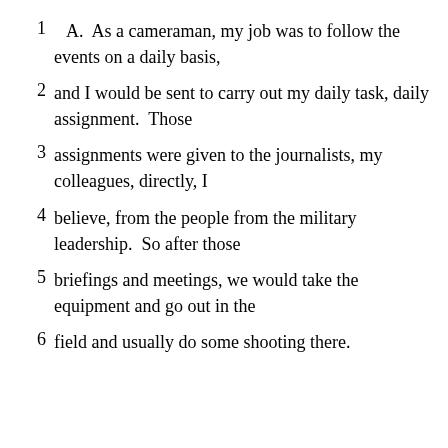1    A.  As a cameraman, my job was to follow the events on a daily basis,
2   and I would be sent to carry out my daily task, daily assignment.  Those
3   assignments were given to the journalists, my colleagues, directly, I
4   believe, from the people from the military leadership.  So after those
5   briefings and meetings, we would take the equipment and go out in the
6   field and usually do some shooting there.